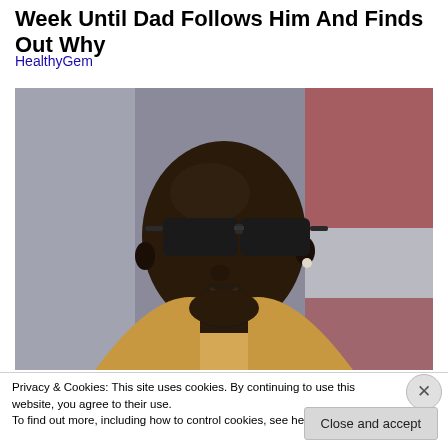Week Until Dad Follows Him And Finds Out Why
HealthyGem
[Figure (photo): Close-up photo of a tall, muscular bald Black man wearing dark sunglasses, a pearl/stud earring, a black necklace, and a tan/gold blazer, looking upward to the left. The background is blurred with red and white colors suggesting a stadium or sports event.]
Privacy & Cookies: This site uses cookies. By continuing to use this website, you agree to their use.
To find out more, including how to control cookies, see here: Cookie Policy
Close and accept